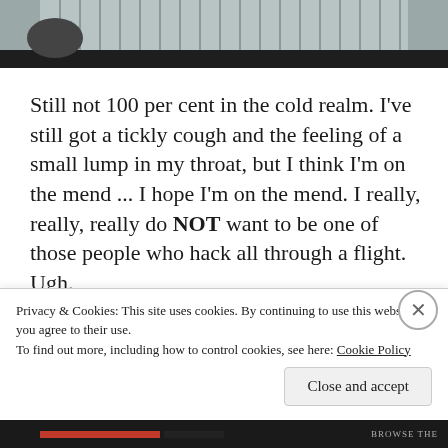[Figure (photo): Top portion of a photo showing a person lying on a striped surface, partially cut off at top of page]
Still not 100 per cent in the cold realm. I've still got a tickly cough and the feeling of a small lump in my throat, but I think I'm on the mend ... I hope I'm on the mend. I really, really, really do NOT want to be one of those people who hack all through a flight. Ugh.
Privacy & Cookies: This site uses cookies. By continuing to use this website, you agree to their use.
To find out more, including how to control cookies, see here: Cookie Policy
Close and accept